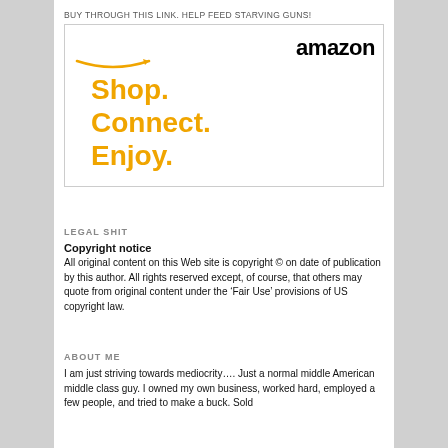BUY THROUGH THIS LINK. HELP FEED STARVING GUNS!
[Figure (advertisement): Amazon advertisement with logo showing 'amazon' in bold black text with orange arrow smile underneath, and orange bold text reading 'Shop. Connect. Enjoy.']
LEGAL SHIT
Copyright notice
All original content on this Web site is copyright © on date of publication by this author. All rights reserved except, of course, that others may quote from original content under the ‘Fair Use’ provisions of US copyright law.
ABOUT ME
I am just striving towards mediocrity.... Just a normal middle American middle class guy. I owned my own business, worked hard, employed a few people, and tried to make a buck. Sold